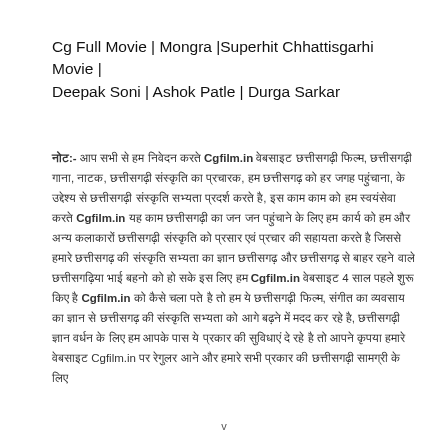Cg Full Movie | Mongra |Superhit Chhattisgarhi Movie | Deepak Soni | Ashok Patle | Durga Sarkar
नोट:- आप सभी से हम निवेदन करते Cgfilm.in वेबसाइट छत्तीसगढ़ी फिल्म, छत्तीसगढ़ी गाना, नाटक, छत्तीसगढ़ी संस्कृति का प्रचारक, हम छत्तीसगढ़ को हर जगह पहुंचाना, के उद्देश्य से छत्तीसगढ़ी संस्कृति सभ्यता प्रदर्श करते है, इस काम काम को हम स्वयंसेवा करते Cgfilm.in यह काम छत्तीसगढ़ी का जन जन पहुंचाने के लिए हम कार्य को हम और अन्य कलाकारों छत्तीसगढ़ी संस्कृति को प्रसार एवं प्रचार की सहायता करते है जिससे हमारे छत्तीसगढ़ की संस्कृति सभ्यता का ज्ञान छत्तीसगढ़ और छत्तीसगढ़ से बाहर रहने वाले छत्तीसगढ़िया भाई बहनो को हो सके इस लिए हम Cgfilm.in वेबसाइट 4 साल पहले शुरू किए है Cgfilm.in को कैसे चला पते है तो हम ये छत्तीसगढ़ी फिल्म, संगीत का व्यवसाय का ज्ञान से छत्तीसगढ़ की संस्कृति सभ्यता को आगे बढ़ने में मदद कर रहे है, छत्तीसगढ़ी ज्ञान वर्धन के लिए हम आपके पास ये प्रकार की सुविधाएं दे रहे है तो आपने कृपया हमारे वेबसाइट Cgfilm.in पर रेगुलर आने और हमारे सभी प्रकार की छत्तीसगढ़ी सामग्री के लिए
v